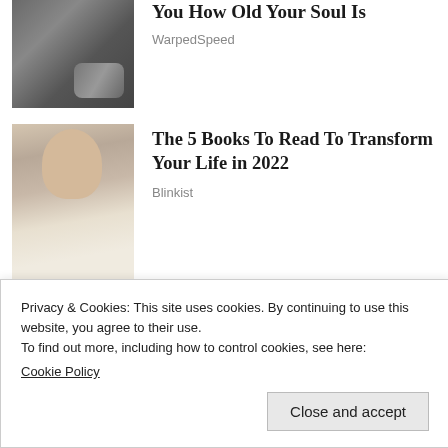[Figure (photo): Car interior seat/armrest detail in dark gray]
You How Old Your Soul Is
WarpedSpeed
[Figure (photo): Portrait photo of blonde woman with red lipstick in white outfit against grey background]
The 5 Books To Read To Transform Your Life in 2022
Blinkist
[Figure (illustration): Blue banner with globe/earth illustration and orbital ring]
Privacy & Cookies: This site uses cookies. By continuing to use this website, you agree to their use.
To find out more, including how to control cookies, see here:
Cookie Policy
Close and accept